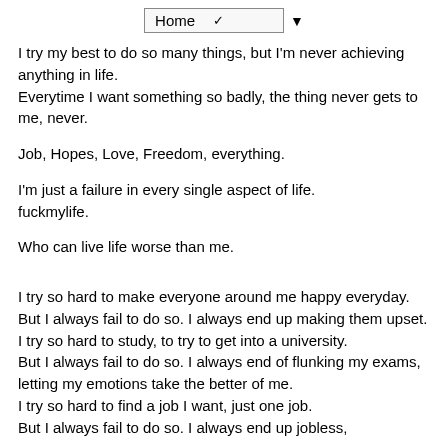Home ▼
I try my best to do so many things, but I'm never achieving anything in life.
Everytime I want something so badly, the thing never gets to me, never.
Job, Hopes, Love, Freedom, everything.
I'm just a failure in every single aspect of life. fuckmylife.
Who can live life worse than me.
I try so hard to make everyone around me happy everyday.
But I always fail to do so. I always end up making them upset.
I try so hard to study, to try to get into a university.
But I always fail to do so. I always end of flunking my exams, letting my emotions take the better of me.
I try so hard to find a job I want, just one job.
But I always fail to do so. I always end up jobless,